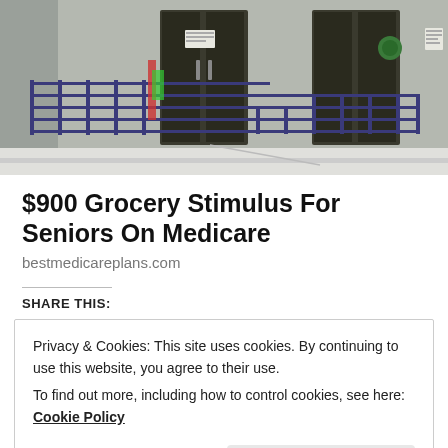[Figure (photo): Photograph of a government or medical building entrance with metal railings/ramp, glass doors, and signs posted on the doors. Stone/tile exterior facade visible.]
$900 Grocery Stimulus For Seniors On Medicare
bestmedicareplans.com
SHARE THIS:
Privacy & Cookies: This site uses cookies. By continuing to use this website, you agree to their use.
To find out more, including how to control cookies, see here: Cookie Policy